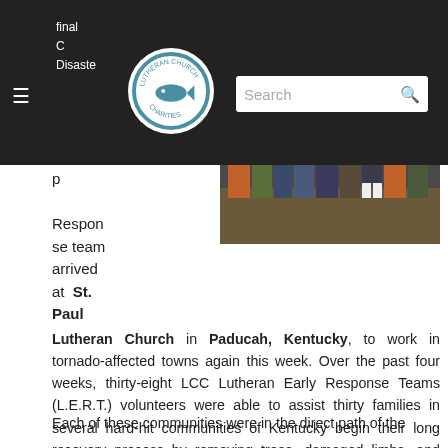final C Disaster p Response team arrived at St. Paul Lutheran Church
[Figure (photo): Group of volunteers wearing safety vests and work gear standing outdoors]
Lutheran Church in Paducah, Kentucky, to work in tornado-affected towns again this week. Over the past four weeks, thirty-eight LCC Lutheran Early Response Teams (L.E.R.T.) volunteers were able to assist thirty families in several hard-hit communities of Kentucky begin their long recovery process by removing trees, damaged limbs, and debris with chainsaws, boom lift, bobcats, and tractors.
Each of these communities were in the direct path of the